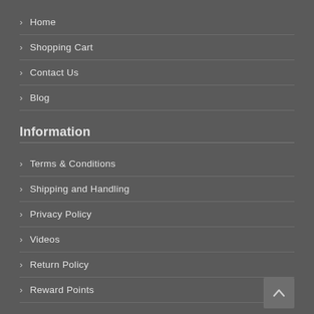> Home
> Shopping Cart
> Contact Us
> Blog
Information
> Terms & Conditions
> Shipping and Handling
> Privacy Policy
> Videos
> Return Policy
> Reward Points